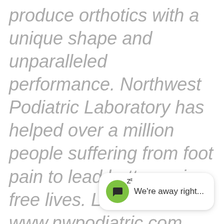produce orthotics with a unique shape and unparalleled performance. Northwest Podiatric Laboratory has helped over a million people suffering from foot pain to lead better, pain-free lives. Learn more at www.nwpodiatric.com
[Figure (screenshot): Chat widget showing a green circle with a speech bubble icon and 'Zz' sleep indicator, with text 'We're away right...']